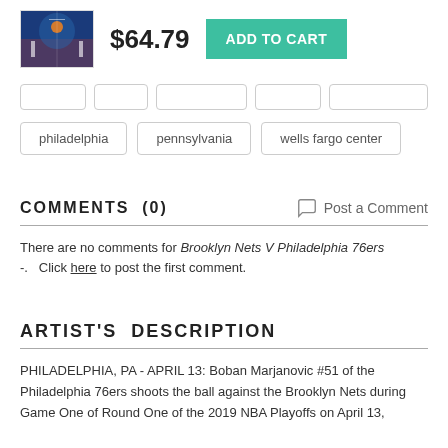[Figure (photo): Basketball game photo showing players at Wells Fargo Center]
$64.79
ADD TO CART
philadelphia
pennsylvania
wells fargo center
COMMENTS  (0)
Post a Comment
There are no comments for Brooklyn Nets V Philadelphia 76ers -.  Click here to post the first comment.
ARTIST'S  DESCRIPTION
PHILADELPHIA, PA - APRIL 13: Boban Marjanovic #51 of the Philadelphia 76ers shoots the ball against the Brooklyn Nets during Game One of Round One of the 2019 NBA Playoffs on April 13,